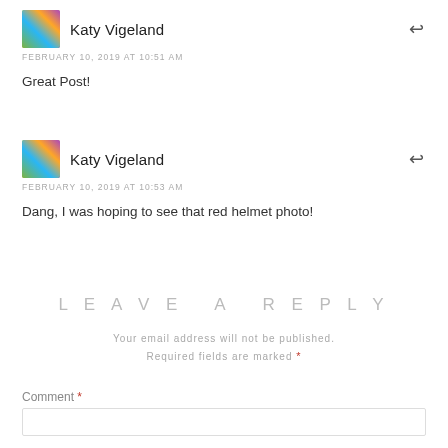Katy Vigeland
FEBRUARY 10, 2019 AT 10:51 AM
Great Post!
Katy Vigeland
FEBRUARY 10, 2019 AT 10:53 AM
Dang, I was hoping to see that red helmet photo!
LEAVE A REPLY
Your email address will not be published. Required fields are marked *
Comment *